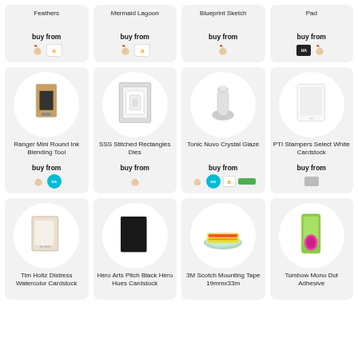Feathers
buy from
Mermaid Lagoon
buy from
Blueprint Sketch
buy from
Pad
buy from
Ranger Mini Round Ink Blending Tool
buy from
SSS Stitched Rectangles Dies
buy from
Tonic Nuvo Crystal Glaze
buy from
PTI Stampers Select White Cardstock
buy from
Tim Holtz Distress Watercolor Cardstock
Hero Arts Pitch Black Hero Hues Cardstock
3M Scotch Mounting Tape 19mmx33m
Tombow Mono Dot Adhesive